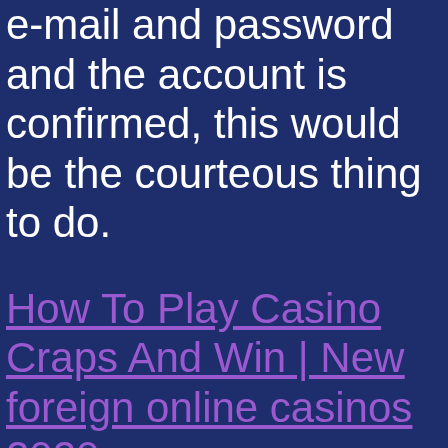e-mail and password and the account is confirmed, this would be the courteous thing to do.
How To Play Casino Craps And Win | New foreign online casinos 2020
We have made it our top priority to provide the best